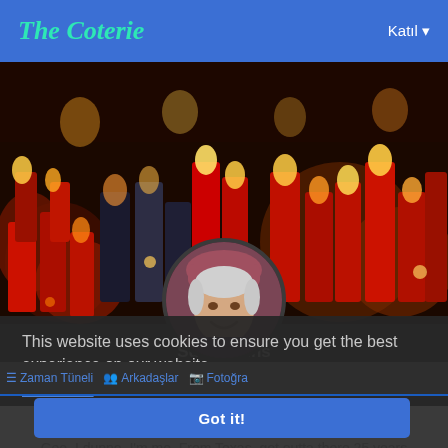The Coterie   Katıl
[Figure (photo): Cover photo showing many lit candles in red and dark glass holders, creating a warm glowing atmosphere.]
[Figure (photo): Circular profile photo of Susy Goins, a woman with short gray hair wearing a pink/mauve hat, smiling.]
Susy Goins
This website uses cookies to ensure you get the best experience on our website
Learn More
Zaman Tüneli   Arkadaşlar   Fotoğra
Got it!
Gee, I dunno, I'm me. From Texas, got outta there 25 years